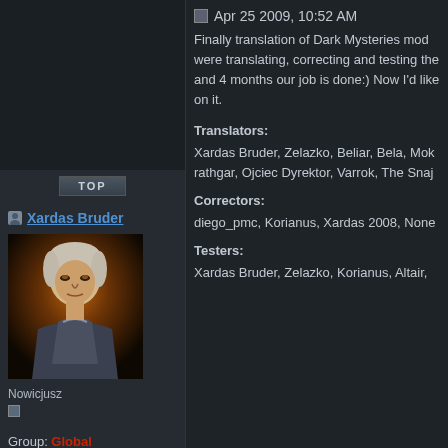[Figure (photo): Dark fantasy character avatar - an older man with white/grey hair in armor against an orange/dark background]
Xardas Bruder
Nowicjusz
Group: Global Moderator
Posts: 6
Joined: 5-January 09
Apr 25 2009, 10:52 AM
Finally translation of Dark Mysteries mod were translating, correcting and testing the and 4 months our job is done:) Now I'd like on it.
Translators:
Xardas Bruder, Zelazko, Beliar, Bela, Mok rathgar, Ojciec Dyrektor, Varrok, The Snaj
Correctors:
diego_pmc, Korianus, Xardas 2008, None
Testers:
Xardas Bruder, Zelazko, Korianus, Altair,